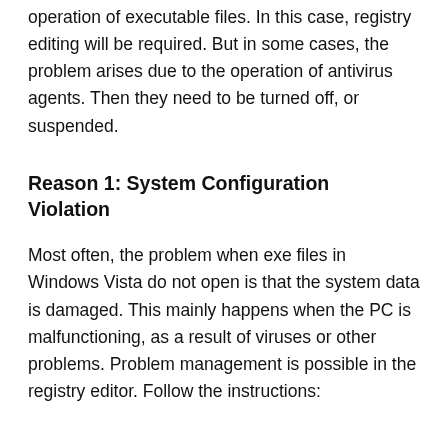operation of executable files. In this case, registry editing will be required. But in some cases, the problem arises due to the operation of antivirus agents. Then they need to be turned off, or suspended.
Reason 1: System Configuration Violation
Most often, the problem when exe files in Windows Vista do not open is that the system data is damaged. This mainly happens when the PC is malfunctioning, as a result of viruses or other problems. Problem management is possible in the registry editor. Follow the instructions: